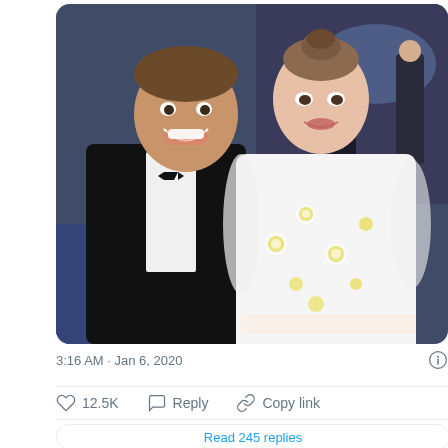[Figure (photo): Two people posing at a formal event. On the left, a man in a black tuxedo with bow tie smiling broadly. On the right, a woman in a white floral sheer gown with yellow flower embroidery and feather trim, her hair up.]
3:16 AM · Jan 6, 2020
♡ 12.5K   Reply   Copy link
Read 245 replies